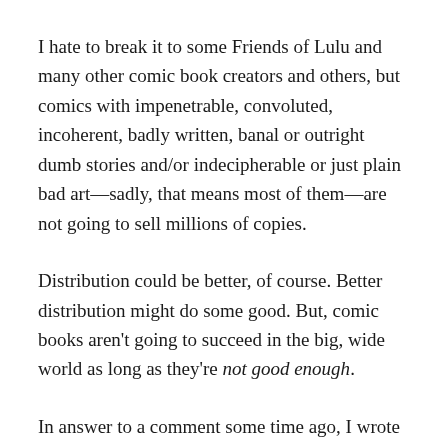I hate to break it to some Friends of Lulu and many other comic book creators and others, but comics with impenetrable, convoluted, incoherent, badly written, banal or outright dumb stories and/or indecipherable or just plain bad art—sadly, that means most of them—are not going to sell millions of copies.
Distribution could be better, of course. Better distribution might do some good. But, comic books aren't going to succeed in the big, wide world as long as they're not good enough.
In answer to a comment some time ago, I wrote the following: